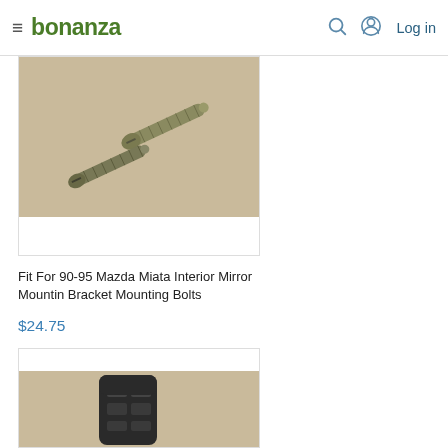bonanza — Log in
[Figure (photo): Photo of two small metal screws on a cardboard/tan background — Fit For 90-95 Mazda Miata Interior Mirror Mountin Bracket Mounting Bolts]
Fit For 90-95 Mazda Miata Interior Mirror Mountin Bracket Mounting Bolts
$24.75
[Figure (photo): Photo of a black plastic window switch panel/bezel on a tan background]